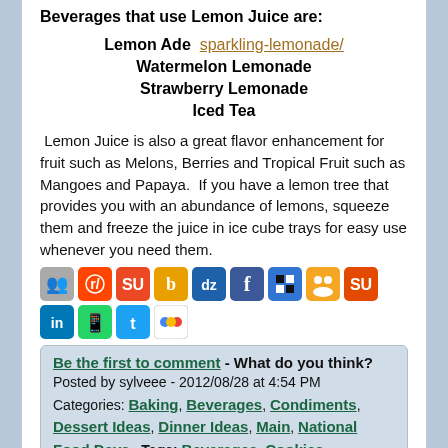Beverages that use Lemon Juice are:
Lemon Ade  sparkling-lemonade/
Watermelon Lemonade
Strawberry Lemonade
Iced Tea
Lemon Juice is also a great flavor enhancement for fruit such as Melons, Berries and Tropical Fruit such as Mangoes and Papaya.  If you have a lemon tree that provides you with an abundance of lemons, squeeze them and freeze the juice in ice cube trays for easy use whenever you need them.
[Figure (other): Row of social sharing icons including various social media platforms]
Be the first to comment - What do you think?
Posted by sylveee - 2012/08/28 at 4:54 PM
Categories: Baking, Beverages, Condiments, Dessert Ideas, Dinner Ideas, Main, National Food Days   Tags: Beverages, Cookies, Desserts, Entrees, Lemon Juice, Lemons